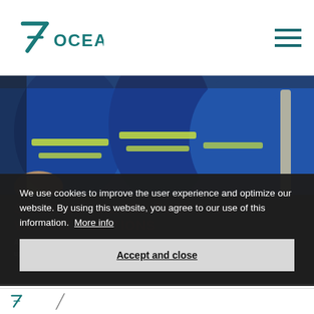[Figure (logo): 7ocean logo with teal stylized 7 and the word OCEAN in teal capital letters]
[Figure (photo): Workers in blue coveralls with yellow-green high-visibility reflective stripes, outdoors industrial setting]
STAFFING / RECRUITMENT AND VACANT POSITIONS
We use cookies to improve the user experience and optimize our website. By using this website, you agree to our use of this information.  More info
A tip for all with technical interests: Visit and follow the 7ocean homepage for attractive updates!
Accept and close